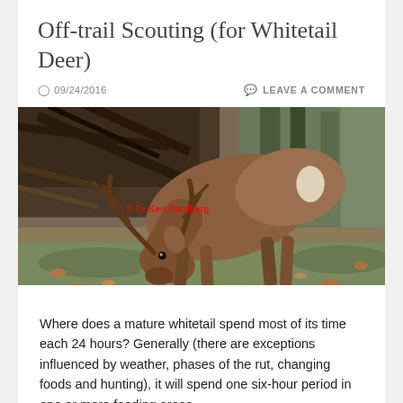Off-trail Scouting (for Whitetail Deer)
09/24/2016   LEAVE A COMMENT
[Figure (photo): A whitetail buck deer grazing with head down on grass with fallen leaves, antlers visible, in a wooded setting with fallen branches in the background. Red watermark text: '© Dr Ken Nordberg']
Where does a mature whitetail spend most of its time each 24 hours? Generally (there are exceptions influenced by weather, phases of the rut, changing foods and hunting), it will spend one six-hour period in one or more feeding areas